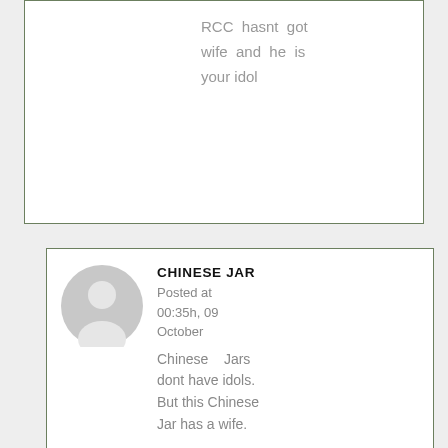RCC hasnt got wife and he is your idol
CHINESE JAR
Posted at 00:35h, 09 October
Chinese Jars dont have idols. But this Chinese Jar has a wife.
G SEGUNA
Posted at 12:18h, 07 October